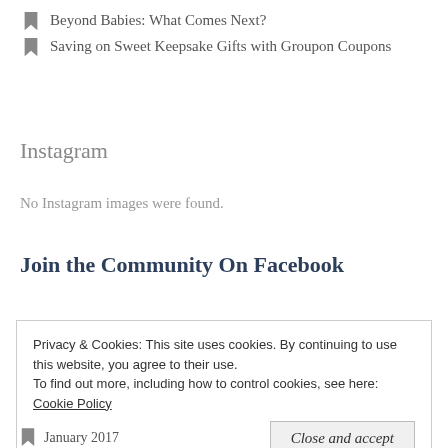Beyond Babies: What Comes Next?
Saving on Sweet Keepsake Gifts with Groupon Coupons
Instagram
No Instagram images were found.
Join the Community On Facebook
Privacy & Cookies: This site uses cookies. By continuing to use this website, you agree to their use.
To find out more, including how to control cookies, see here: Cookie Policy
Close and accept
January 2017